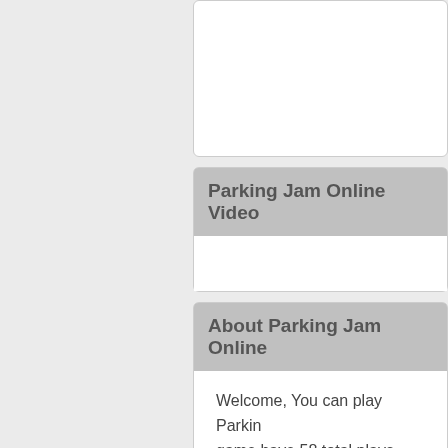[Figure (other): Top card area - white card partially visible at top]
Parking Jam Online Video
About Parking Jam Online
Welcome, You can play Parking Jam Online game have 58 total plays, have We find some of the game: Gu Parking, Car Crash Online Stea go to the 3d games, boys game